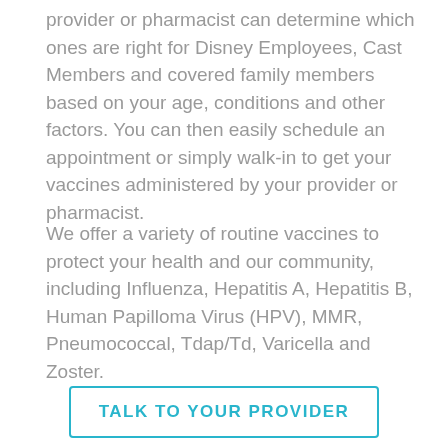provider or pharmacist can determine which ones are right for Disney Employees, Cast Members and covered family members based on your age, conditions and other factors. You can then easily schedule an appointment or simply walk-in to get your vaccines administered by your provider or pharmacist.
We offer a variety of routine vaccines to protect your health and our community, including Influenza, Hepatitis A, Hepatitis B, Human Papilloma Virus (HPV), MMR, Pneumococcal, Tdap/Td, Varicella and Zoster.
TALK TO YOUR PROVIDER